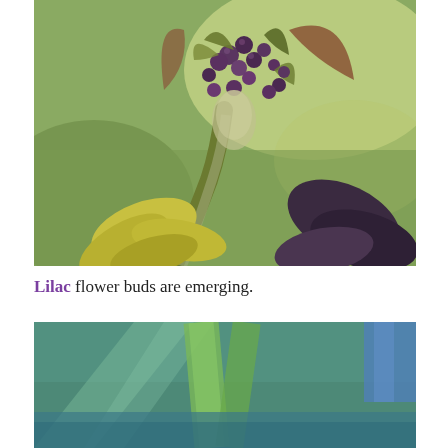[Figure (photo): Close-up macro photograph of lilac flower buds emerging from a branch, with small dark purple buds visible among green and reddish-brown leaves, blurred green background.]
Lilac flower buds are emerging.
[Figure (photo): Close-up photograph showing green plant stems or leaves with teal/green background, partially visible.]